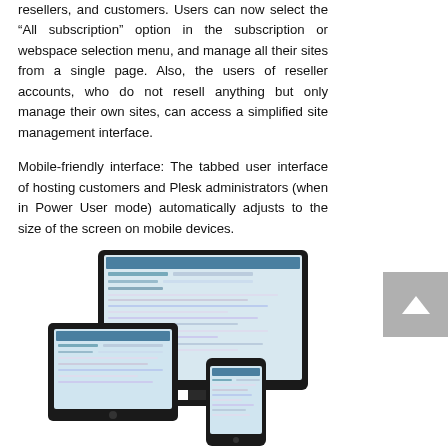resellers, and customers. Users can now select the “All subscription” option in the subscription or webspace selection menu, and manage all their sites from a single page. Also, the users of reseller accounts, who do not resell anything but only manage their own sites, can access a simplified site management interface.
Mobile-friendly interface: The tabbed user interface of hosting customers and Plesk administrators (when in Power User mode) automatically adjusts to the size of the screen on mobile devices.
[Figure (screenshot): Illustration of a desktop monitor, tablet, and mobile phone displaying a Plesk hosting control panel interface, representing responsive/mobile-friendly design across devices.]